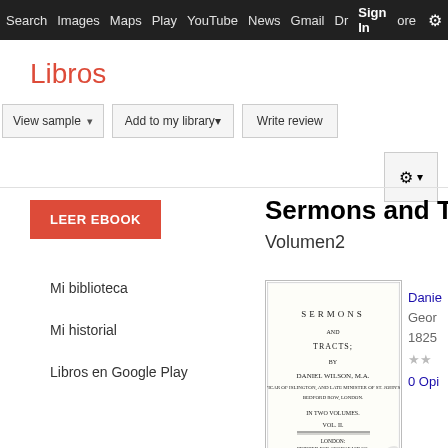Search  Images  Maps  Play  YouTube  News  Gmail  Drive  More  Sign In  ⚙
Libros
View sample ▾   Add to my library ▾   Write review
[Figure (screenshot): Settings gear icon button]
LEER EBOOK
Sermons and Tr
Volumen2
Mi biblioteca
Mi historial
Libros en Google Play
[Figure (photo): Book cover thumbnail of Sermons and Tracts by Daniel Wilson, M.A., In Two Volumes, Vol. II, London, printed for George Wilson, 1825]
Danie
Geor
1825
★★
0 Opi